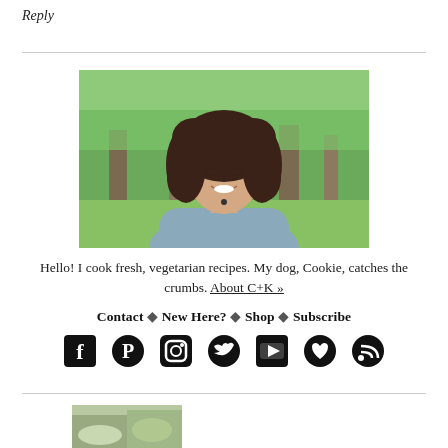Reply
[Figure (photo): Portrait photo of a young woman with long curly brown hair, smiling, outdoors with green trees in background, wearing a light blue shirt]
Hello! I cook fresh, vegetarian recipes. My dog, Cookie, catches the crumbs. About C+K »
Contact ◆ New Here? ◆ Shop ◆ Subscribe
[Figure (other): Row of social media icons: Facebook, Pinterest, Instagram, Twitter, YouTube, Heart/Bloglovin, RSS feed]
[Figure (photo): Partial image of food at bottom of page]